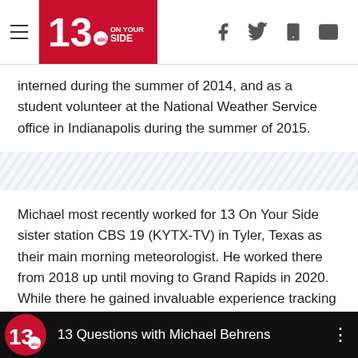13 On Your Side (navigation header with hamburger menu and social icons)
interned during the summer of 2014, and as a student volunteer at the National Weather Service office in Indianapolis during the summer of 2015.
[Figure (other): Diagonal stripe decorative divider band]
Michael most recently worked for 13 On Your Side sister station CBS 19 (KYTX-TV) in Tyler, Texas as their main morning meteorologist. He worked there from 2018 up until moving to Grand Rapids in 2020. While there he gained invaluable experience tracking and forecasting severe weather in one of the most active regions of the country. He now brings that experience back north.
[Figure (screenshot): Video thumbnail bar showing 13 On Your Side logo and title '13 Questions with Michael Behrens' on black background]